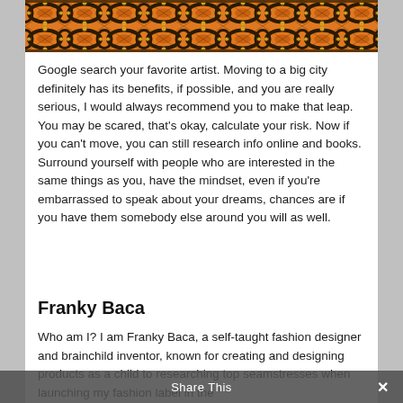[Figure (illustration): Decorative African-style geometric pattern in orange, black, and gold at the top of the page]
Google search your favorite artist. Moving to a big city definitely has its benefits, if possible, and you are really serious, I would always recommend you to make that leap. You may be scared, that’s okay, calculate your risk. Now if you can’t move, you can still research info online and books. Surround yourself with people who are interested in the same things as you, have the mindset, even if you’re embarrassed to speak about your dreams, chances are if you have them somebody else around you will as well.
Franky Baca
Who am I? I am Franky Baca, a self-taught fashion designer and brainchild inventor, known for creating and designing products as a child to researching top seamstresses when launching my fashion label in the